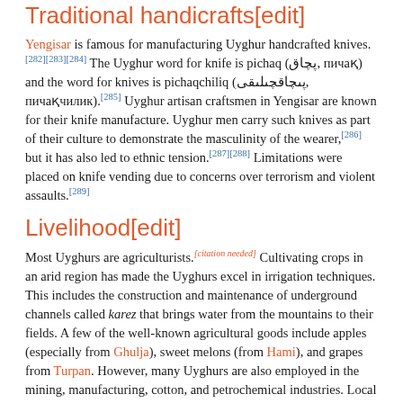Traditional handicrafts[edit]
Yengisar is famous for manufacturing Uyghur handcrafted knives.[282][283][284] The Uyghur word for knife is pichaq (پچاق, пичақ) and the word for knives is pichaqchiliq (پىچاقچىلىقى, пичақчилик).[285] Uyghur artisan craftsmen in Yengisar are known for their knife manufacture. Uyghur men carry such knives as part of their culture to demonstrate the masculinity of the wearer,[286] but it has also led to ethnic tension.[287][288] Limitations were placed on knife vending due to concerns over terrorism and violent assaults.[289]
Livelihood[edit]
Most Uyghurs are agriculturists.[citation needed] Cultivating crops in an arid region has made the Uyghurs excel in irrigation techniques. This includes the construction and maintenance of underground channels called karez that brings water from the mountains to their fields. A few of the well-known agricultural goods include apples (especially from Ghulja), sweet melons (from Hami), and grapes from Turpan. However, many Uyghurs are also employed in the mining, manufacturing, cotton, and petrochemical industries. Local handicrafts like rug-weaving and jade-carving are also important to the cottage industry of the Uyghurs.[290]